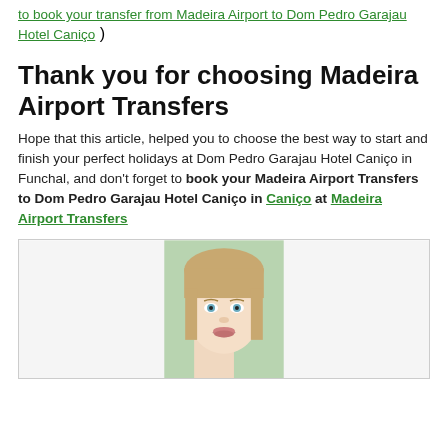to book your transfer from Madeira Airport to Dom Pedro Garajau Hotel Caniço )
Thank you for choosing Madeira Airport Transfers
Hope that this article, helped you to choose the best way to start and finish your perfect holidays at Dom Pedro Garajau Hotel Caniço in Funchal, and don't forget to book your Madeira Airport Transfers to Dom Pedro Garajau Hotel Caniço in Caniço at Madeira Airport Transfers
[Figure (photo): Portrait photo of a smiling young blonde woman with blue eyes against a light green background]